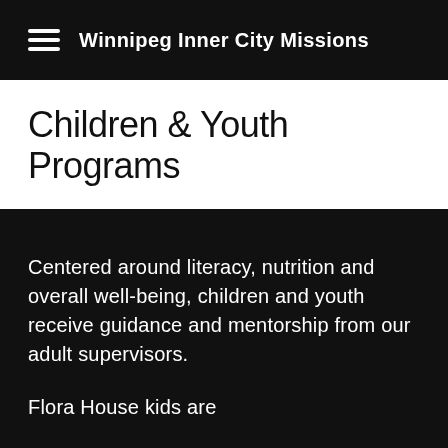Winnipeg Inner City Missions
Children & Youth Programs
Centered around literacy, nutrition and overall well-being, children and youth receive guidance and mentorship from our adult supervisors.
Flora House kids are